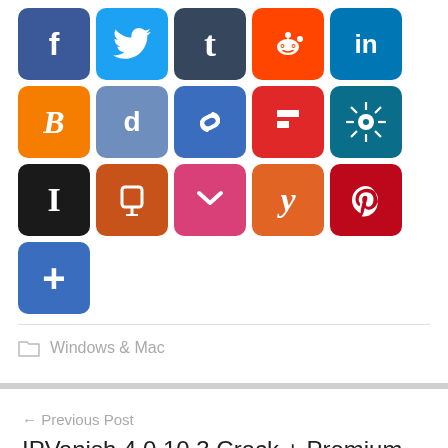[Figure (infographic): Social media sharing icon buttons: Facebook, Twitter, Tumblr, Reddit, LinkedIn, Blogger, Delicious, Chain/Link, Flipboard (row 1); Spiky/Diaspora, Instapaper, Pinboard, Pocket, Yummly, Pinterest, More/Plus (row 2)]
Windows & Mac
← Previous Post
IPVanish 4.0.10.3 Crack + Premium Serial Key Full Download
Next Post →
Redshift Render 4.0.45 Crack Cinema 4D R23 Free Download